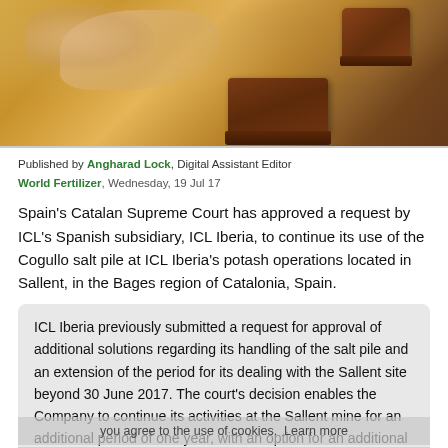[Figure (photo): A wooden stamp or block on a wooden table surface, with a hand visible in the upper left, warm tones throughout.]
Published by Angharad Lock, Digital Assistant Editor
World Fertilizer, Wednesday, 19 Jul 17
Spain's Catalan Supreme Court has approved a request by ICL's Spanish subsidiary, ICL Iberia, to continue its use of the Cogullo salt pile at ICL Iberia's potash operations located in Sallent, in the Bages region of Catalonia, Spain.
ICL Iberia previously submitted a request for approval of additional solutions regarding its handling of the salt pile and an extension of the period for its dealing with the Sallent site beyond 30 June 2017. The court's decision enables the Company to continue its activities at the Sallent mine for an additional period of one year, with an option for an additional year.
The interim measures proposed by the company - and accepted by the Catalan court - will result in a reduction in the amount of salt